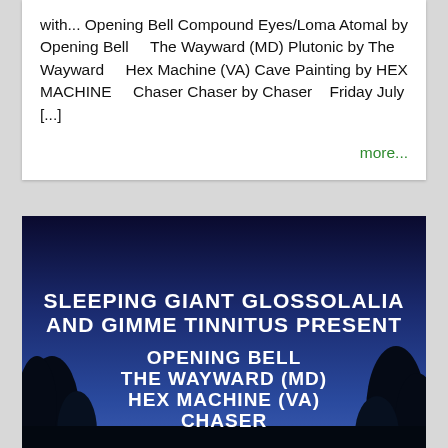with... Opening Bell Compound Eyes/Loma Atomal by Opening Bell    The Wayward (MD) Plutonic by The Wayward    Hex Machine (VA) Cave Painting by HEX MACHINE    Chaser Chaser by Chaser    Friday July [...]
more...
[Figure (photo): Night sky event poster with dark blue sky and silhouetted trees. Text reads: SLEEPING GIANT GLOSSOLALIA AND GIMME TINNITUS PRESENT / OPENING BELL / THE WAYWARD (MD) / HEX MACHINE (VA) / CHASER]